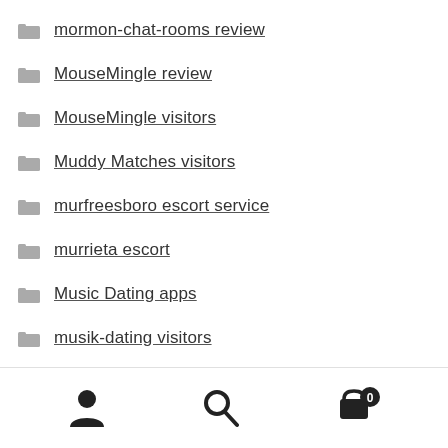mormon-chat-rooms review
MouseMingle review
MouseMingle visitors
Muddy Matches visitors
murfreesboro escort service
murrieta escort
Music Dating apps
musik-dating visitors
Muslim Dating Sites service
My Dirty Hobby visitors
my pay day loans com
Navigation bar with user, search, and cart icons